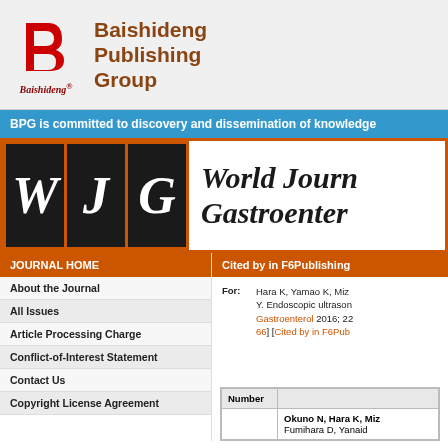[Figure (logo): Baishideng Publishing Group logo with red stylized B icon and italic Baishideng text with registered trademark symbol]
Baishideng Publishing Group
BPG is committed to discovery and dissemination of knowledge
[Figure (logo): WJG logo with three black boxes containing italic W, J, G letters on orange border background, beside World Journal of Gastroenterology title text]
JOURNAL HOME
Cited by in F6Publishing
About the Journal
All Issues
Article Processing Charge
Conflict-of-Interest Statement
Contact Us
Copyright License Agreement
For: Hara K, Yamao K, Mizu Y. Endoscopic ultrason Gastroenterol 2016; 22 66] [Cited by in F6Pub
| Number |  |
| --- | --- |
|  | Okuno N, Hara K, Miz Fumihara D, Yanaid |